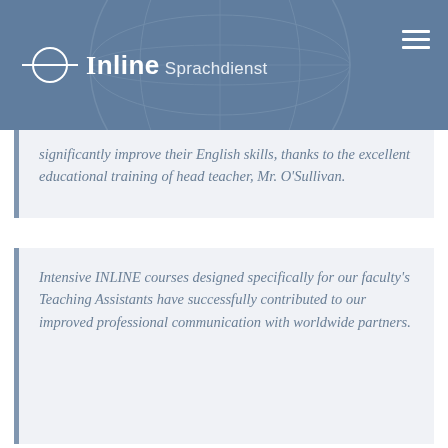Inline Sprachdienst
significantly improve their English skills, thanks to the excellent educational training of head teacher, Mr. O'Sullivan.
Intensive INLINE courses designed specifically for our faculty's Teaching Assistants have successfully contributed to our improved professional communication with worldwide partners.